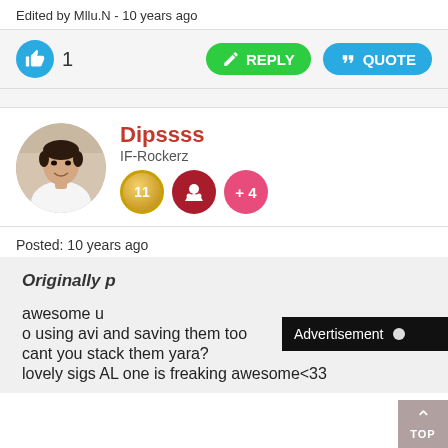Edited by Mllu.N - 10 years ago
1  REPLY  QUOTE
[Figure (photo): User avatar photo of Dipssss, a young man in a white shirt]
Dipssss
IF-Rockerz
11  +4
Posted: 10 years ago
Advertisement
Originally p

awesome u
o using avi and saving them too
cant you stack them yara?
lovely sigs AL one is freaking awesome<33